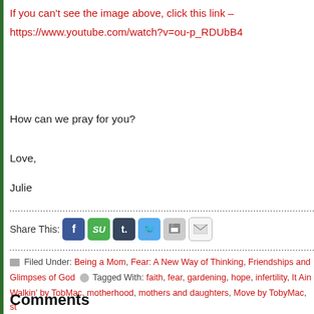If you can't see the image above, click this link –

https://www.youtube.com/watch?v=ou-p_RDUbB4
How can we pray for you?
Love,
Julie
Share This:
Filed Under: Being a Mom, Fear: A New Way of Thinking, Friendships and Glimpses of God  Tagged With: faith, fear, gardening, hope, infertility, It Ain Walkin' by TobMac, motherhood, mothers and daughters, Move by TobyMac, st
Comments